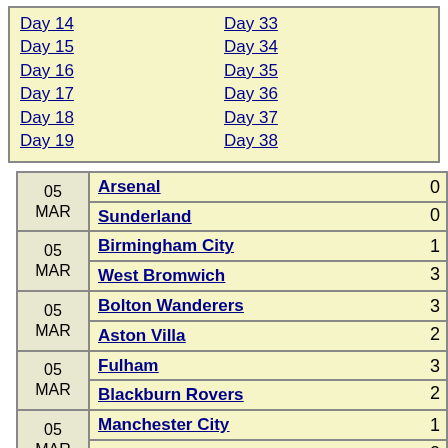Day 14, Day 15, Day 16, Day 17, Day 18, Day 19, Day 33, Day 34, Day 35, Day 36, Day 37, Day 38
| Date | Match | Score |
| --- | --- | --- |
| 05 MAR | Arsenal / Sunderland | 0 / 0 |
| 05 MAR | Birmingham City / West Bromwich | 1 / 3 |
| 05 MAR | Bolton Wanderers / Aston Villa | 3 / 2 |
| 05 MAR | Fulham / Blackburn Rovers | 3 / 2 |
| 05 MAR | Manchester City / Wigan Athletic | 1 / 0 |
| 05 MAR | Newcastle United | 1 |